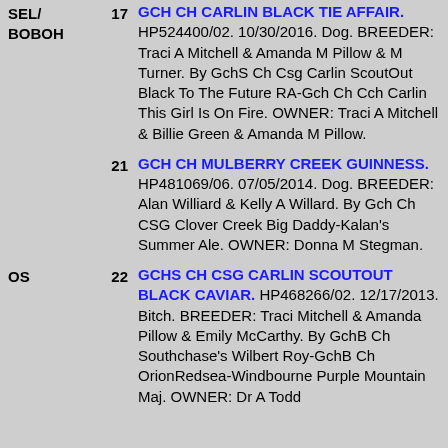SEL/ BOBOH 17 GCH CH CARLIN BLACK TIE AFFAIR. HP524400/02. 10/30/2016. Dog. BREEDER: Traci A Mitchell & Amanda M Pillow & M Turner. By GchS Ch Csg Carlin ScoutOut Black To The Future RA-Gch Ch Cch Carlin This Girl Is On Fire. OWNER: Traci A Mitchell & Billie Green & Amanda M Pillow.
21 GCH CH MULBERRY CREEK GUINNESS. HP481069/06. 07/05/2014. Dog. BREEDER: Alan Williard & Kelly A Willard. By Gch Ch CSG Clover Creek Big Daddy-Kalan's Summer Ale. OWNER: Donna M Stegman.
OS 22 GCHS CH CSG CARLIN SCOUTOUT BLACK CAVIAR. HP468266/02. 12/17/2013. Bitch. BREEDER: Traci Mitchell & Amanda Pillow & Emily McCarthy. By GchB Ch Southchase's Wilbert Roy-GchB Ch OrionRedsea-Windbourne Purple Mountain Maj. OWNER: Dr A Todd